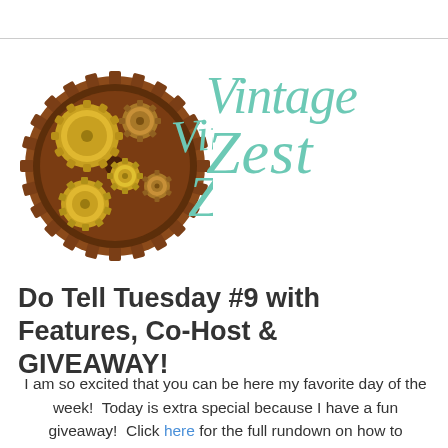[Figure (logo): Vintage Zest logo: steampunk gear cluster illustration on the left with interlocking bronze/copper gears with gold accent gears, and cursive teal/mint text 'Vintage Zest' on the right]
Do Tell Tuesday #9 with Features, Co-Host & GIVEAWAY!
I am so excited that you can be here my favorite day of the week!  Today is extra special because I have a fun giveaway!  Click here for the full rundown on how to participate in the